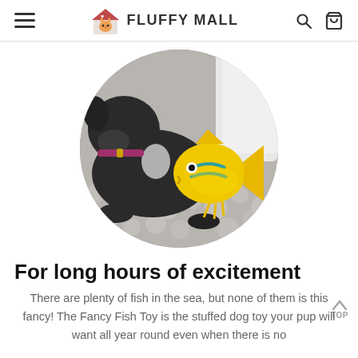FLUFFY MALL
[Figure (photo): A black and white dog resting on a fluffy blanket, holding a yellow tropical fish stuffed toy with teal stripes and a black eye. The dog wears a pink/purple collar. Image is cropped in a circle.]
For long hours of excitement
There are plenty of fish in the sea, but none of them is this fancy! The Fancy Fish Toy is the stuffed dog toy your pup will want all year round even when there is no